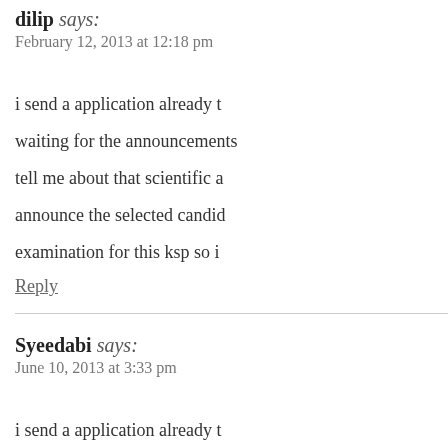dilip says: February 12, 2013 at 12:18 pm
i send a application already t waiting for the announcements tell me about that scientific a announce the selected candid examination for this ksp so i
Reply
Syeedabi says: June 10, 2013 at 3:33 pm
i send a application already t waiting for the announcements tell me about that scientific a announce the selected candid examination for this ksp so i